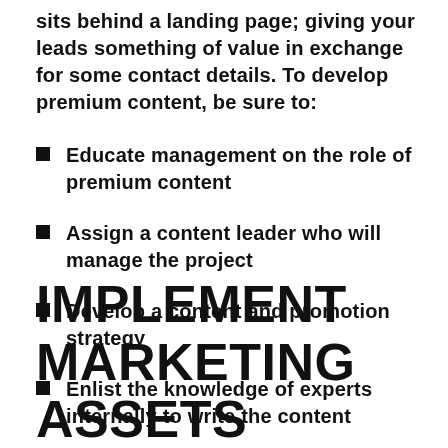sits behind a landing page; giving your leads something of value in exchange for some contact details. To develop premium content, be sure to:
Educate management on the role of premium content
Assign a content leader who will manage the project
Develop a content and promotion strategy
Enlist the knowledge of experts internally to write the content
IMPLEMENT MARKETING ASSETS